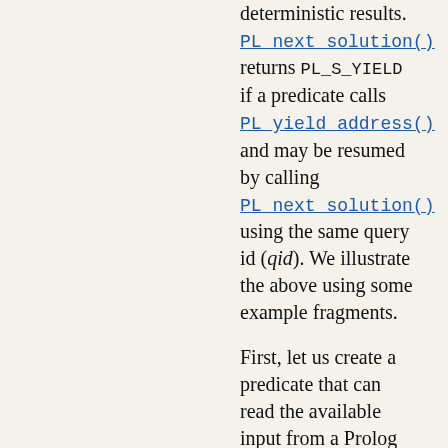deterministic results. PL_next_solution() returns PL_S_YIELD if a predicate calls PL_yield_address() and may be resumed by calling PL_next_solution() using the same query id (qid). We illustrate the above using some example fragments.
First, let us create a predicate that can read the available input from a Prolog stream and yield if it would block. Note that our predicate must the PL_FA_VARARGS interface, which implies the first argument is in a0, the second in a0+1.